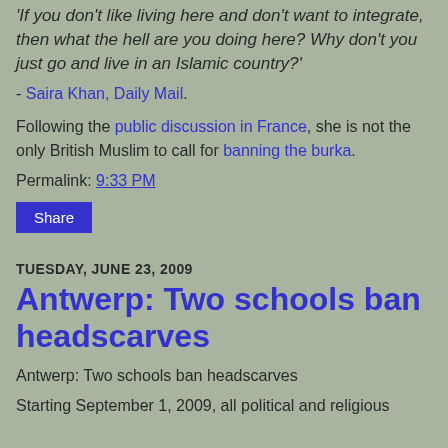'If you don't like living here and don't want to integrate, then what the hell are you doing here? Why don't you just go and live in an Islamic country?'
- Saira Khan, Daily Mail.
Following the public discussion in France, she is not the only British Muslim to call for banning the burka.
Permalink: 9:33 PM
Share
TUESDAY, JUNE 23, 2009
Antwerp: Two schools ban headscarves
Antwerp: Two schools ban headscarves
Starting September 1, 2009, all political and religious